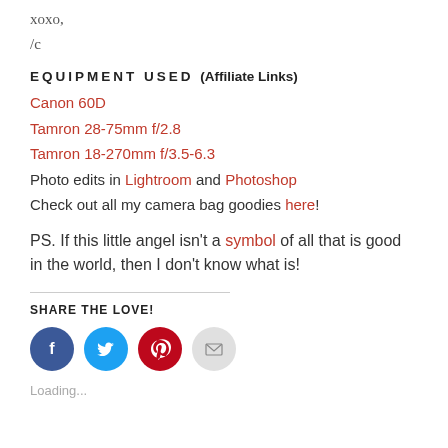xoxo,
/c
EQUIPMENT USED (Affiliate Links)
Canon 60D
Tamron 28-75mm f/2.8
Tamron 18-270mm f/3.5-6.3
Photo edits in Lightroom and Photoshop
Check out all my camera bag goodies here!
PS. If this little angel isn't a symbol of all that is good in the world, then I don't know what is!
SHARE THE LOVE!
[Figure (other): Four social sharing buttons: Facebook (blue), Twitter (cyan), Pinterest (red), Email (grey)]
Loading...